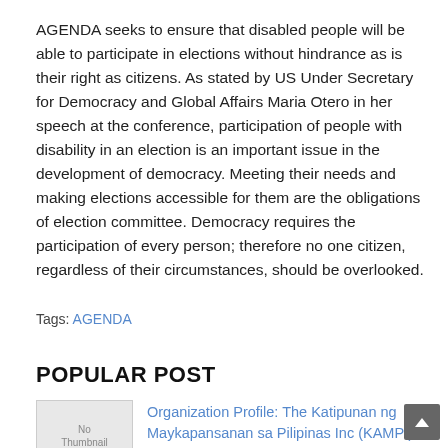AGENDA seeks to ensure that disabled people will be able to participate in elections without hindrance as is their right as citizens. As stated by US Under Secretary for Democracy and Global Affairs Maria Otero in her speech at the conference, participation of people with disability in an election is an important issue in the development of democracy. Meeting their needs and making elections accessible for them are the obligations of election committee. Democracy requires the participation of every person; therefore no one citizen, regardless of their circumstances, should be overlooked.
Tags: AGENDA
POPULAR POST
Organization Profile: The Katipunan ng Maykapansanan sa Pilipinas Inc (KAMPI)